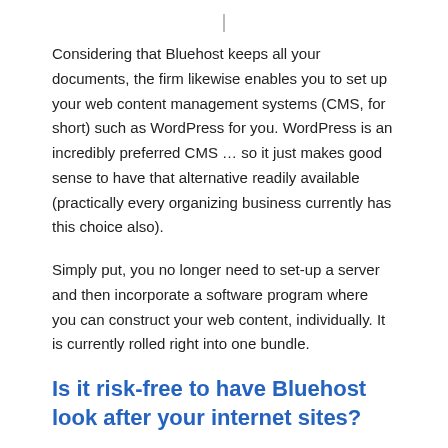Considering that Bluehost keeps all your documents, the firm likewise enables you to set up your web content management systems (CMS, for short) such as WordPress for you. WordPress is an incredibly preferred CMS … so it just makes good sense to have that alternative readily available (practically every organizing business currently has this choice also).
Simply put, you no longer need to set-up a server and then incorporate a software program where you can construct your web content, individually. It is currently rolled right into one bundle.
Is it risk-free to have Bluehost look after your internet sites?
Well … envision if your server is in your house. If anything were to take place to it whatsoever, all your documents are gone. If